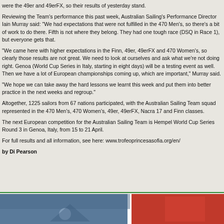were the 49er and 49erFX, so their results of yesterday stand.
Reviewing the Team's performance this past week, Australian Sailing's Performance Director Iain Murray said: "We had expectations that were not fulfilled in the 470 Men's, so there's a bit of work to do there. Fifth is not where they belong. They had one tough race (DSQ in Race 1), but everyone gets that.
"We came here with higher expectations in the Finn, 49er, 49erFX and 470 Women's, so clearly those results are not great. We need to look at ourselves and ask what we're not doing right. Genoa (World Cup Series in Italy, starting in eight days) will be a testing event as well. Then we have a lot of European championships coming up, which are important," Murray said.
"We hope we can take away the hard lessons we learnt this week and put them into better practice in the next weeks and regroup."
Altogether, 1225 sailors from 67 nations participated, with the Australian Sailing Team squad represented in the 470 Men's, 470 Women's, 49er, 49erFX, Nacra 17 and Finn classes.
The next European competition for the Australian Sailing Team is Hempel World Cup Series Round 3 in Genoa, Italy, from 15 to 21 April.
For full results and all information, see here: www.trofeoprincesasofia.org/en/
by Di Pearson
[Figure (photo): A photo strip at the bottom of the page showing sailing imagery with blue and red colors.]